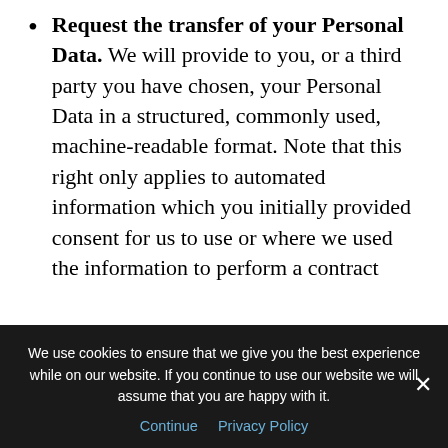Request the transfer of your Personal Data. We will provide to you, or a third party you have chosen, your Personal Data in a structured, commonly used, machine-readable format. Note that this right only applies to automated information which you initially provided consent for us to use or where we used the information to perform a contract with you.
Withdraw consent. This right only exists where we are relying on consent to process your Personal Data ("Consent Withdrawal"). If you withdraw your consent, we may not be able to provide you with access to the certain specific functionalities of our Site. We will advise you if this is the case at the time you withdraw your
We use cookies to ensure that we give you the best experience while on our website. If you continue to use our website we will assume that you are happy with it.
Continue   Privacy Policy